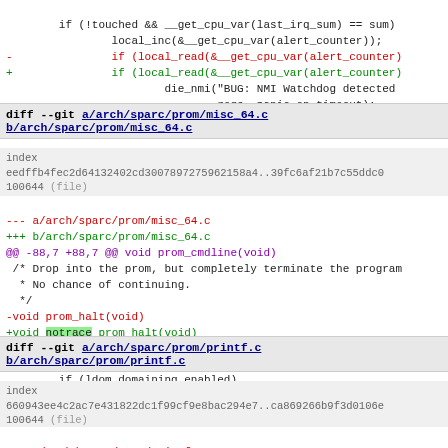if (!touched && __get_cpu_var(last_irq_sum) == sum)
                local_inc(&__get_cpu_var(alert_counter));
-               if (local_read(&__get_cpu_var(alert_counter)
+               if (local_read(&__get_cpu_var(alert_counter)
                        die_nmi("BUG: NMI Watchdog detected
                                regs, panic_on_timeout);
        } else {
diff --git a/arch/sparc/prom/misc_64.c b/arch/sparc/prom/misc_64.c
index
eedffb4fec2d64132402cd3007897275962158a4..39fc6af21b7c55ddc0
100644 (file)
--- a/arch/sparc/prom/misc_64.c
+++ b/arch/sparc/prom/misc_64.c
@@ -88,7 +88,7 @@ void prom_cmdline(void)
 /* Drop into the prom, but completely terminate the program
  * No chance of continuing.
  */
-void prom_halt(void)
+void notrace prom_halt(void)
 {
 #ifdef CONFIG_SUN_LDOMS
        if (ldom_domaining_enabled)
diff --git a/arch/sparc/prom/printf.c b/arch/sparc/prom/printf.c
index
660943ee4c2ac7e431822dc1f99cf9e8bac294e7..ca869266b9f3d0106e
100644 (file)
--- a/arch/sparc/prom/printf.c
+++ b/arch/sparc/prom/printf.c